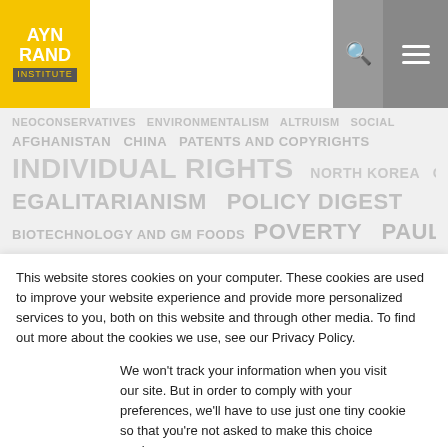[Figure (logo): Ayn Rand Institute logo - yellow box with white AYN RAND text and INSTITUTE label below]
[Figure (screenshot): Tag cloud background showing topics: AFGHANISTAN CHINA PATENTS AND COPYRIGHTS, INDIVIDUAL RIGHTS NORTH KOREA CONSERVATIVES, EGALITARIANISM POLICY DIGEST, BIOTECHNOLOGY AND GM FOODS POVERTY PAUL KRUGMAN, ABOUT AYN RAND MIDDLE EAST, ISLAMIC TOTALITARIANISM WEALTH]
This website stores cookies on your computer. These cookies are used to improve your website experience and provide more personalized services to you, both on this website and through other media. To find out more about the cookies we use, see our Privacy Policy.
We won't track your information when you visit our site. But in order to comply with your preferences, we'll have to use just one tiny cookie so that you're not asked to make this choice again.